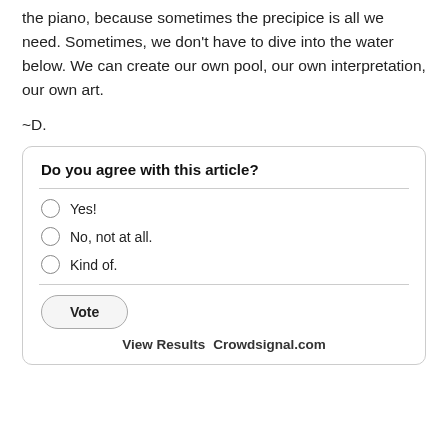the piano, because sometimes the precipice is all we need. Sometimes, we don't have to dive into the water below. We can create our own pool, our own interpretation, our own art.
~D.
| Do you agree with this article? |
| Yes! |
| No, not at all. |
| Kind of. |
| Vote |
| View Results  Crowdsignal.com |